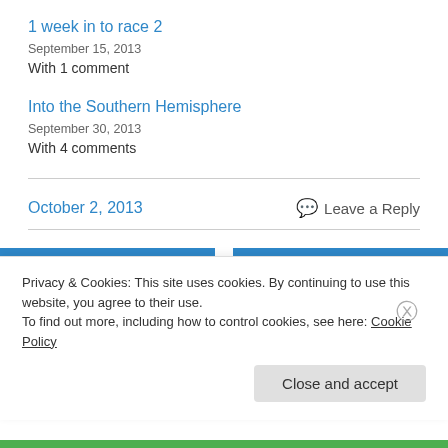1 week in to race 2
September 15, 2013
With 1 comment
Into the Southern Hemisphere
September 30, 2013
With 4 comments
October 2, 2013
💬 Leave a Reply
Previous
Next
Privacy & Cookies: This site uses cookies. By continuing to use this website, you agree to their use.
To find out more, including how to control cookies, see here: Cookie Policy
Close and accept